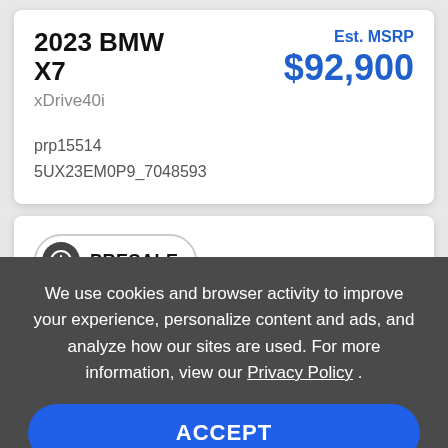2023 BMW X7
xDrive40i
Est. MSRP $92,900
prp15514
5UX23EM0P9_7048593
PRESALE
We use cookies and browser activity to improve your experience, personalize content and ads, and analyze how our sites are used. For more information, view our Privacy Policy .
ACCEPT